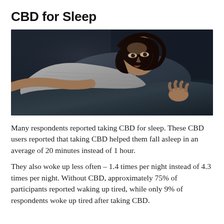CBD for Sleep
[Figure (photo): A woman lying in bed in a dark room, looking awake and unable to sleep, resting her head on a pillow with blankets around her.]
Many respondents reported taking CBD for sleep. These CBD users reported that taking CBD helped them fall asleep in an average of 20 minutes instead of 1 hour.
They also woke up less often – 1.4 times per night instead of 4.3 times per night. Without CBD, approximately 75% of participants reported waking up tired, while only 9% of respondents woke up tired after taking CBD.